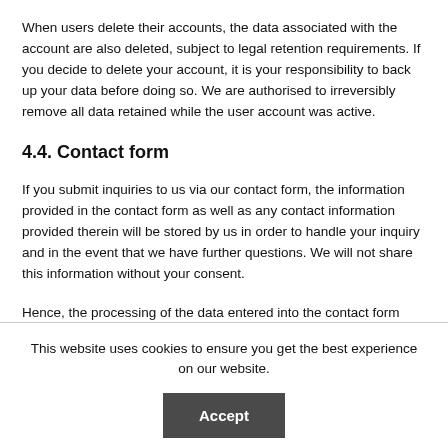When users delete their accounts, the data associated with the account are also deleted, subject to legal retention requirements. If you decide to delete your account, it is your responsibility to back up your data before doing so. We are authorised to irreversibly remove all data retained while the user account was active.
4.4. Contact form
If you submit inquiries to us via our contact form, the information provided in the contact form as well as any contact information provided therein will be stored by us in order to handle your inquiry and in the event that we have further questions. We will not share this information without your consent.
Hence, the processing of the data entered into the contact form occurs
This website uses cookies to ensure you get the best experience on our website.
Accept